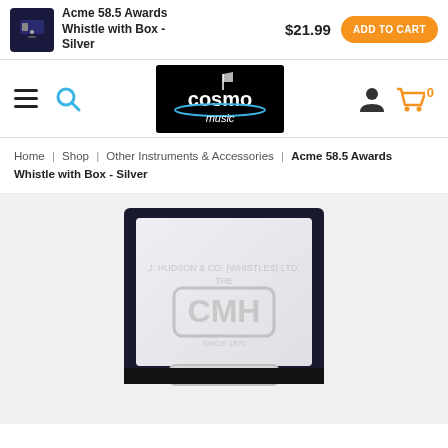Acme 58.5 Awards Whistle with Box - Silver | $21.99 | ADD TO CART
[Figure (screenshot): Cosmo Music navigation bar with hamburger menu, search icon, Cosmo Music logo, user icon, and shopping cart with 0 items]
Home | Shop | Other Instruments & Accessories | Acme 58.5 Awards Whistle with Box - Silver
[Figure (photo): Silver Acme 58.5 Awards Whistle inside a dark blue/black gift box with Acme logo embossed on white silk interior, Since 1878 text visible]